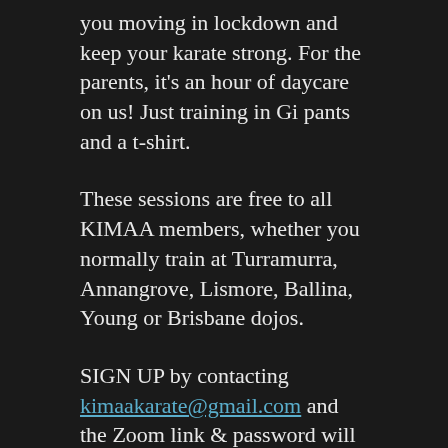you moving in lockdown and keep your karate strong. For the parents, it's an hour of daycare on us! Just training in Gi pants and a t-shirt.
These sessions are free to all KIMAA members, whether you normally train at Turramurra, Annangrove, Lismore, Ballina, Young or Brisbane dojos.
SIGN UP by contacting kimaakarate@gmail.com and the Zoom link & password will be emailed an hour before class each week.
Osu, Your KIMAA Instructors